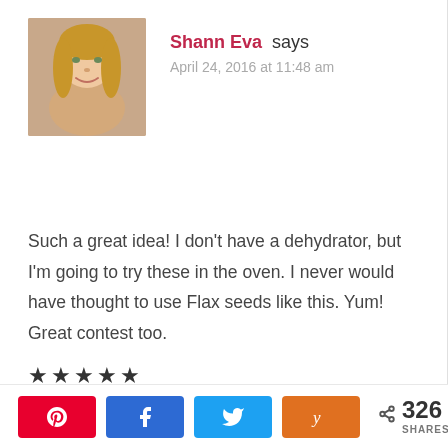[Figure (photo): Profile photo of a blonde woman smiling, used as commenter avatar]
Shann Eva says
April 24, 2016 at 11:48 am
Such a great idea! I don't have a dehydrator, but I'm going to try these in the oven. I never would have thought to use Flax seeds like this. Yum! Great contest too.
★★★★★
326 SHARES — Pinterest, Facebook, Twitter, Yummly share buttons